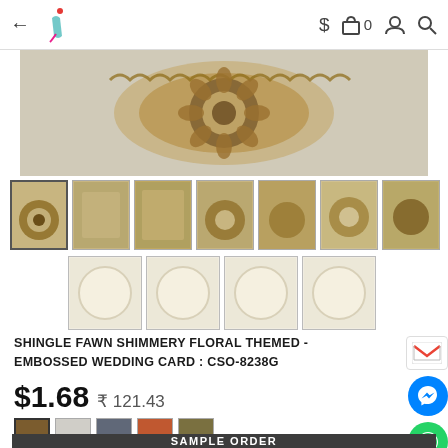← [logo] $ 🛍 0 👤 🔍
[Figure (photo): Main product image showing shingle fawn shimmery floral embossed wedding card with ornate floral design in brown/golden color]
[Figure (photo): Row of 7 product thumbnail images showing different views of the wedding card set]
[Figure (photo): Row of 4 thumbnail images showing plain round/circular card components in cream/off-white color]
SHINGLE FAWN SHIMMERY FLORAL THEMED - EMBOSSED WEDDING CARD : CSO-8238G
$1.68  ₹ 121.43
[Figure (infographic): Color swatches: brown (selected), light gray, dark gray, orange/rust, olive/khaki]
SAMPLE ORDER